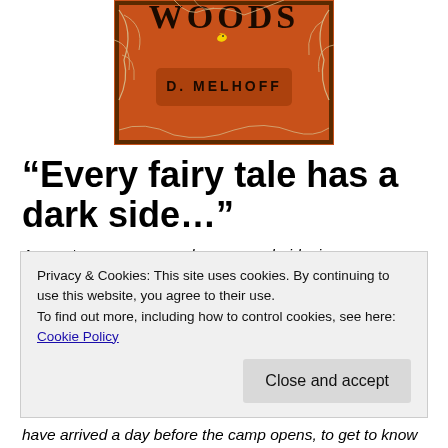[Figure (illustration): Book cover for a novel by D. Melhoff. Orange/brown background with title text partially visible at top (showing 'WOODS'), author name 'D. MELHOFF' in the center, decorative bare branches/twigs around the edges, and a small yellow bird silhouette near the top.]
“Every fairy tale has a dark side…”
A remote summer camp becomes a lurid crime scene when the bodies of two teenagers are found in a bloody, real-life rendering of a classic Grimm’s fairy tale. Trapped in the wilderness, the
Privacy & Cookies: This site uses cookies. By continuing to use this website, you agree to their use.
To find out more, including how to control cookies, see here: Cookie Policy
have arrived a day before the camp opens, to get to know